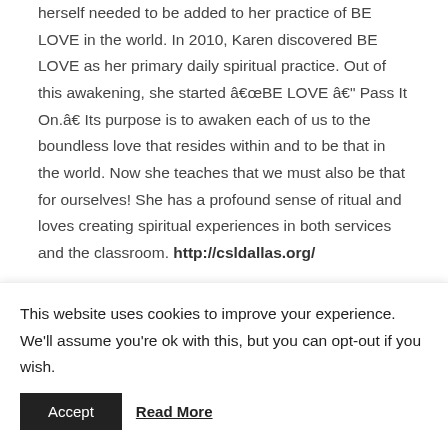herself needed to be added to her practice of BE LOVE in the world. In 2010, Karen discovered BE LOVE as her primary daily spiritual practice. Out of this awakening, she started âBE LOVE â Pass It On.â Its purpose is to awaken each of us to the boundless love that resides within and to be that in the world. Now she teaches that we must also be that for ourselves! She has a profound sense of ritual and loves creating spiritual experiences in both services and the classroom. http://csldallas.org/
This website uses cookies to improve your experience. We'll assume you're ok with this, but you can opt-out if you wish.